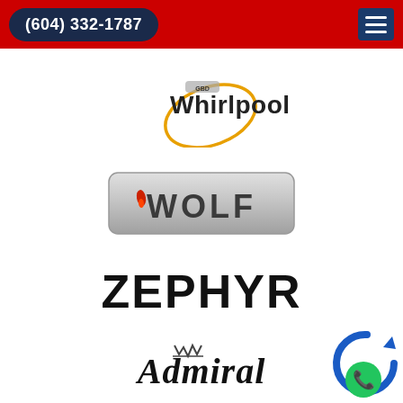(604) 332-1787
[Figure (logo): Whirlpool brand logo with oval swirl graphic]
[Figure (logo): Wolf brand logo on metallic silver rounded rectangle button]
[Figure (logo): ZEPHYR brand logo in bold black text]
[Figure (logo): Admiral brand logo partial, italic serif font with crown emblem]
[Figure (other): Green phone call button widget in bottom right corner]